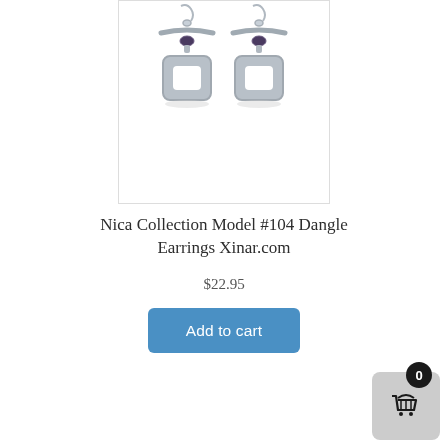[Figure (photo): Two silver dangle earrings with dark purple/blue gemstone accents and open square pendants, displayed against a white background with a light border.]
Nica Collection Model #104 Dangle Earrings Xinar.com
$22.95
Add to cart
[Figure (other): Shopping cart icon with a badge showing 0 in bottom-right corner.]